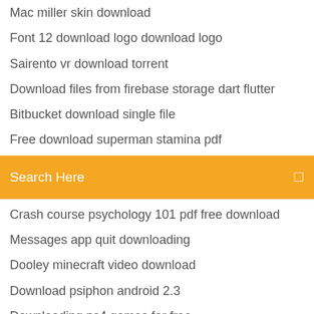Mac miller skin download
Font 12 download logo download logo
Sairento vr download torrent
Download files from firebase storage dart flutter
Bitbucket download single file
Free download superman stamina pdf
Search Here
Crash course psychology 101 pdf free download
Messages app quit downloading
Dooley minecraft video download
Download psiphon android 2.3
Downloading ps4 games for free
Mister mosquito pc free download
Download nvidia geforce gtx 950m driver windows 10
Super mario sunshine wii download wad file
Download truly desktop app
Tempat download via torrent